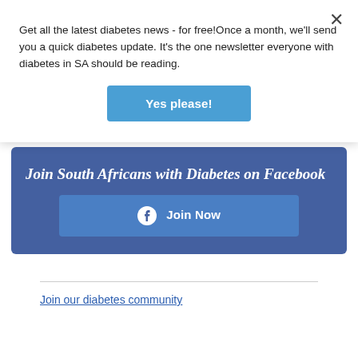Get all the latest diabetes news - for free!Once a month, we'll send you a quick diabetes update. It's the one newsletter everyone with diabetes in SA should be reading.
[Figure (other): Yes please! button — blue rounded rectangle with white bold text]
Join South Africans with Diabetes on Facebook
[Figure (other): Join Now button with Facebook icon — lighter blue rectangle on dark blue banner background]
Join our diabetes community